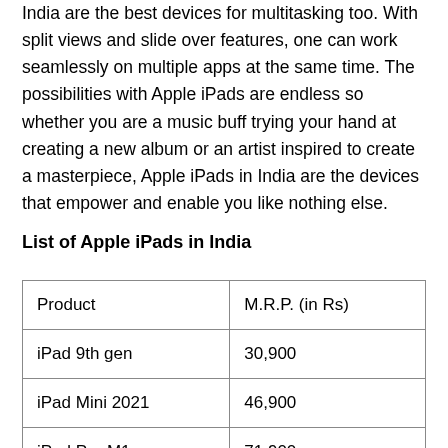India are the best devices for multitasking too. With split views and slide over features, one can work seamlessly on multiple apps at the same time. The possibilities with Apple iPads are endless so whether you are a music buff trying your hand at creating a new album or an artist inspired to create a masterpiece, Apple iPads in India are the devices that empower and enable you like nothing else.
List of Apple iPads in India
| Product | M.R.P. (in Rs) |
| --- | --- |
| iPad 9th gen | 30,900 |
| iPad Mini 2021 | 46,900 |
| iPad Pro M1 | 71,900 |